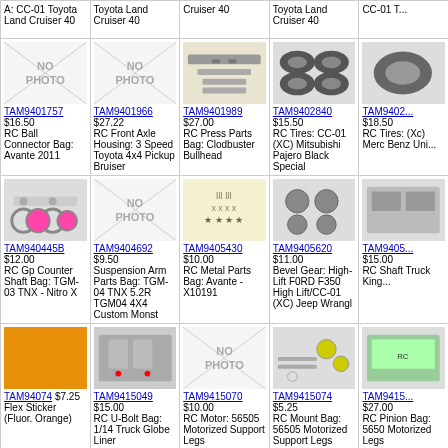| A: CC-01 Toyota Land Cruiser 40 | Toyota Land Cruiser 40 | Cruiser 40 | Toyota Land Cruiser 40 | CC-01 T... |
| TAM9401757 $16.50 RC Ball Connector Bag: Avante 2011 | TAM9401966 $27.22 RC Front Axle Housing: 3 Speed Toyota 4x4 Pickup Bruiser | TAM9401989 $27.00 RC Press Parts Bag: Clodbuster Bullhead | TAM9402840 $15.50 RC Tires: CC-01 (XC) Mitsubishi Pajero Black Special | TAM9402... $18.50 RC Tires: (Xc) Merc Benz Uni... |
| TAM940445B $12.00 RC Gp Counter Shaft Bag: TGM-03 TNX - Nitro X | TAM9404692 $9.50 Suspension Arm Parts Bag: TGM-04 TNX 5.2R TGM04 4X4 Custom Monst | TAM9405430 $10.00 RC Metal Parts Bag: Avante - X10191 | TAM9405620 $11.00 Bevel Gear: High-Lift F0RD F350 High Lift/CC-01 (XC) Jeep Wrangl | TAM9405... $15.00 RC Shaft Truck King... |
| TAM94074 $7.25 Flex Sticker (Fluor. Orange) | TAM9415049 $15.00 RC U-Bolt Bag: 1/14 Truck Globe Liner | TAM9415070 $10.00 RC Motor: 56505 Motorized Support Legs | TAM9415074 $5.25 RC Mount Bag: 56505 Motorized Support Legs | TAM9415... $27.00 RC Pinion Bag: 5650 Motorized Legs |
| (partial) | (partial) | (partial) | (partial) | (partial) |